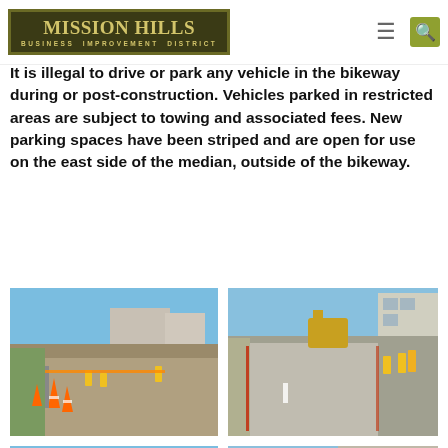Mission Hills Business Improvement District
It is illegal to drive or park any vehicle in the bikeway during or post-construction. Vehicles parked in restricted areas are subject to towing and associated fees. New parking spaces have been striped and are open for use on the east side of the median, outside of the bikeway.
[Figure (photo): Construction workers paving a bikeway lane with orange traffic cones and barriers in a street median area, clear blue sky]
[Figure (photo): Construction workers laying concrete for a bikeway with equipment and safety vests, urban street setting]
[Figure (photo): Building facade and street view during bikeway construction, blue sky background]
[Figure (photo): Street view with construction workers in yellow vests and urban buildings with green awnings during bikeway project]